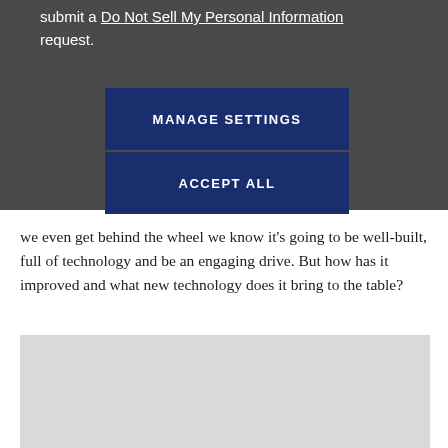submit a Do Not Sell My Personal Information request.
MANAGE SETTINGS
ACCEPT ALL
we even get behind the wheel we know it’s going to be well-built, full of technology and be an engaging drive. But how has it improved and what new technology does it bring to the table?
[Figure (photo): Light gray image placeholder rectangle]